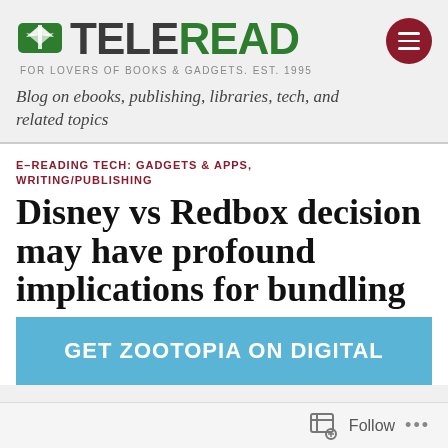TELEREAD — FOR LOVERS OF BOOKS & GADGETS. EST. 1995
Blog on ebooks, publishing, libraries, tech, and related topics
E-READING TECH: GADGETS & APPS, WRITING/PUBLISHING
Disney vs Redbox decision may have profound implications for bundling
[Figure (other): Promotional banner with light blue background reading GET ZOOTOPIA ON DIGITAL]
Follow ...